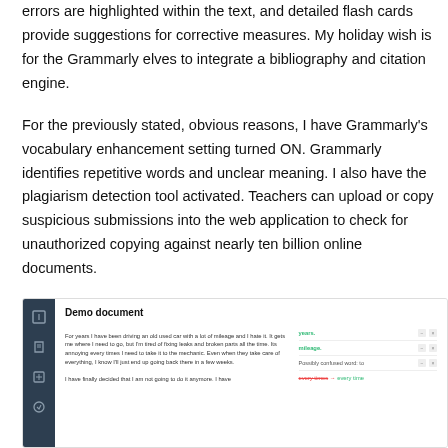errors are highlighted within the text, and detailed flash cards provide suggestions for corrective measures. My holiday wish is for the Grammarly elves to integrate a bibliography and citation engine.
For the previously stated, obvious reasons, I have Grammarly's vocabulary enhancement setting turned ON. Grammarly identifies repetitive words and unclear meaning. I also have the plagiarism detection tool activated. Teachers can upload or copy suspicious submissions into the web application to check for unauthorized copying against nearly ten billion online documents.
[Figure (screenshot): Screenshot of Grammarly web application showing a Demo document. Left sidebar with dark background has icons. Main area shows document text about driving an old used car. Right panel shows suggestions including 'years.', 'mileage.', 'Possibly confused word: to', and a correction 'every time → every time'.]